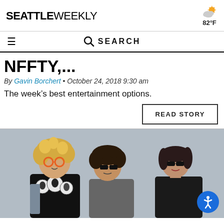SEATTLE WEEKLY — 82°F
SEARCH
NFFTY,...
By Gavin Borchert • October 24, 2018 9:30 am
The week's best entertainment options.
READ STORY
[Figure (photo): Three people standing against a grey background wearing sunglasses and band t-shirts, including a KISS shirt. Left person has curly blonde hair with orange heart sunglasses, middle person has curly dark hair with dark rectangular sunglasses, right person has dark hair with dark sunglasses.]